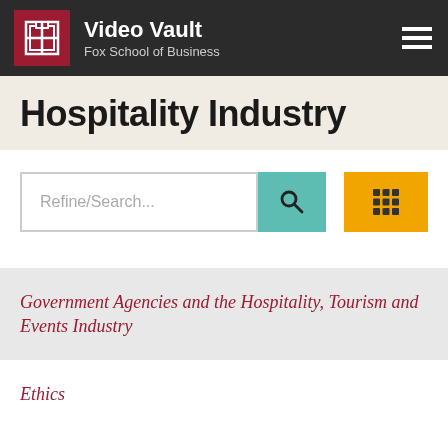Video Vault Fox School of Business
Hospitality Industry
Refine/Search...
Government Agencies and the Hospitality, Tourism and Events Industry
Ethics